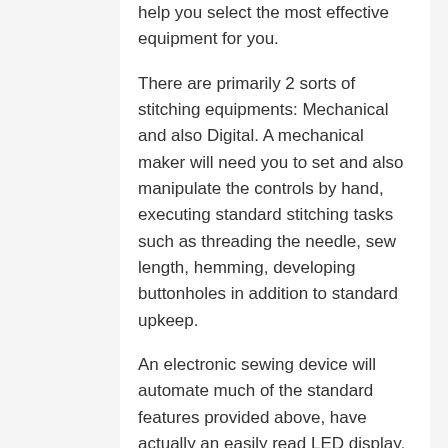help you select the most effective equipment for you.
There are primarily 2 sorts of stitching equipments: Mechanical and also Digital. A mechanical maker will need you to set and also manipulate the controls by hand, executing standard stitching tasks such as threading the needle, sew length, hemming, developing buttonholes in addition to standard upkeep.
An electronic sewing device will automate much of the standard features provided above, have actually an easily read LED display, offer functions that are not available on a mechanical equipment and relieve the problem of laborious stitching job.